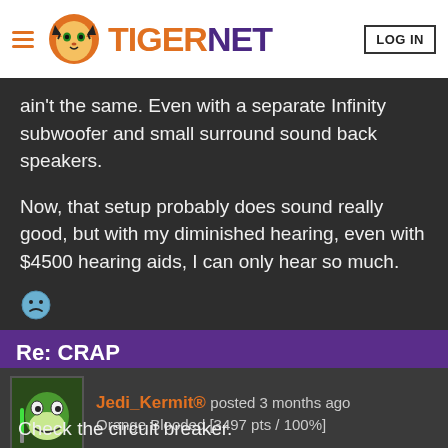TIGERNET | LOG IN
ain't the same. Even with a separate Infinity subwoofer and small surround sound back speakers.

Now, that setup probably does sound really good, but with my diminished hearing, even with $4500 hearing aids, I can only hear so much.
[Figure (illustration): Sad face emoji]
Reply [flag icon] [thumbs down] [thumbs up]
Re: CRAP
Jedi_Kermit® posted 3 months ago
Orange Blooded [3497 pts / 100%]
Check the circuit breaker.